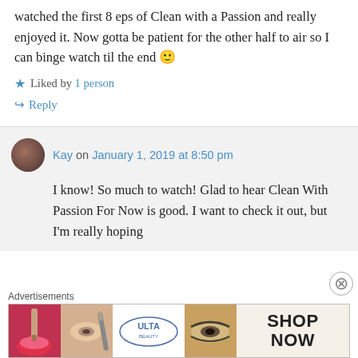watched the first 8 eps of Clean with a Passion and really enjoyed it. Now gotta be patient for the other half to air so I can binge watch til the end 🙂
★ Liked by 1 person
↪ Reply
Kay on January 1, 2019 at 8:50 pm
I know! So much to watch! Glad to hear Clean With Passion For Now is good. I want to check it out, but I'm really hoping
Advertisements
[Figure (photo): Ulta Beauty advertisement banner with makeup images and SHOP NOW text]